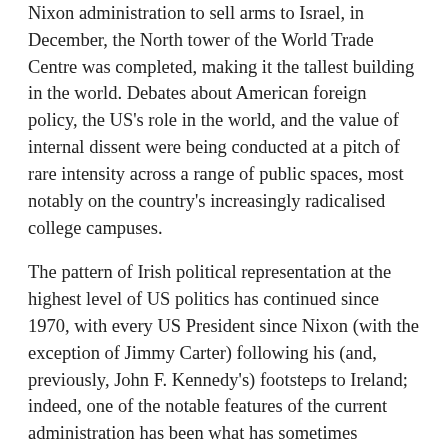Nixon administration to sell arms to Israel, in December, the North tower of the World Trade Centre was completed, making it the tallest building in the world. Debates about American foreign policy, the US's role in the world, and the value of internal dissent were being conducted at a pitch of rare intensity across a range of public spaces, most notably on the country's increasingly radicalised college campuses.
The pattern of Irish political representation at the highest level of US politics has continued since 1970, with every US President since Nixon (with the exception of Jimmy Carter) following his (and, previously, John F. Kennedy's) footsteps to Ireland; indeed, one of the notable features of the current administration has been what has sometimes appeared to be its rotating cast of Conways, Flynns, Mulvaneys, and Walshes. The contrasting responses to Nixon's visit reflect the ambiguous attitudes within Ireland towards American power that can, with a little pressure, be extended to questions around studying America from abroad. In what ways might the deep imbrication of Irish emigrants in American life—one that incorporates contributions to political and cultural structures as well as to the very built environment of the continent [1]—cause the Irish citizen to identify with a